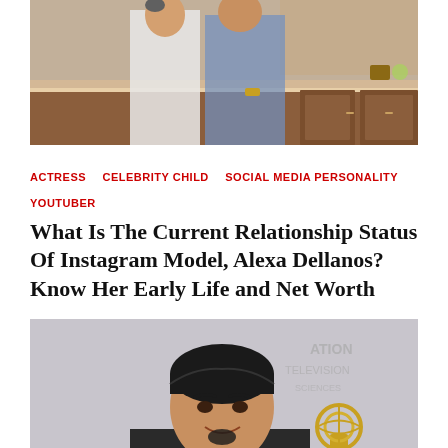[Figure (photo): Two people in a kitchen setting, one wearing white, one wearing a blue patterned shirt, holding what appears to be a small bird]
ACTRESS   CELEBRITY CHILD   SOCIAL MEDIA PERSONALITY   YOUTUBER
What Is The Current Relationship Status Of Instagram Model, Alexa Dellanos? Know Her Early Life and Net Worth
[Figure (photo): Man with dark slicked-back hair and goatee smiling, holding an Emmy award trophy, with National Academy of Television Arts and Sciences backdrop behind him]